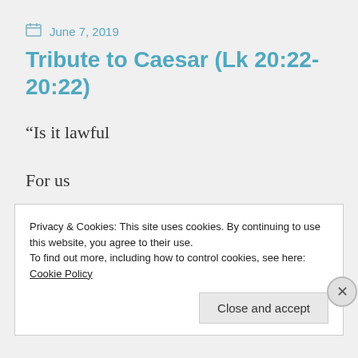June 7, 2019
Tribute to Caesar (Lk 20:22-20:22)
“Is it lawful
For us
To pay taxes
To C...
Privacy & Cookies: This site uses cookies. By continuing to use this website, you agree to their use.
To find out more, including how to control cookies, see here: Cookie Policy